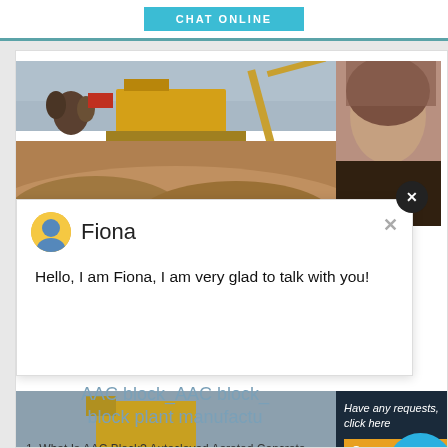[Figure (screenshot): CHAT ONLINE button in teal/cyan color at top of webpage]
[Figure (photo): Industrial/construction site photo with yellow machinery and workers at top, gravel/dirt mounds below]
[Figure (photo): Close-up of woman's hair/head on right side]
[Figure (screenshot): Live chat popup with agent avatar icon, name Fiona, and greeting message. Close X button in circle at top right.]
Hello, I am Fiona, I am very glad to talk with you!
[Figure (screenshot): Right sidebar with dark navy background showing: 'Have any requests, click here', Quote button, circular number badge '1', Enquiry section, limingjlmofen@sina.com email]
AAC block_AAC block_ block plant manufactu
1. What Is AAC Block? Autoclaved Aerated Concrete is a high quality building material manufactured from quartz sand, lime, cement